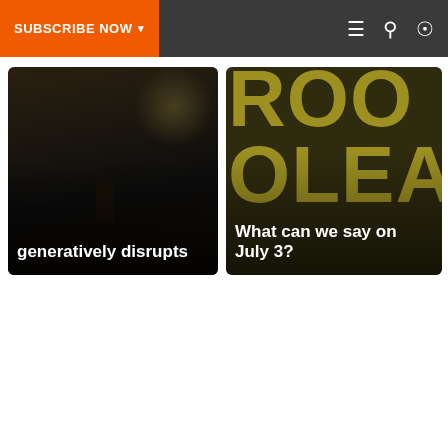SUBSCRIBE NOW ▾
[Figure (photo): Dark stage photo with text overlay reading 'generatively disrupts']
[Figure (photo): Dark background with large olive-colored letters (ROO, OLEA visible) and text overlay reading 'What can we say on July 3?']